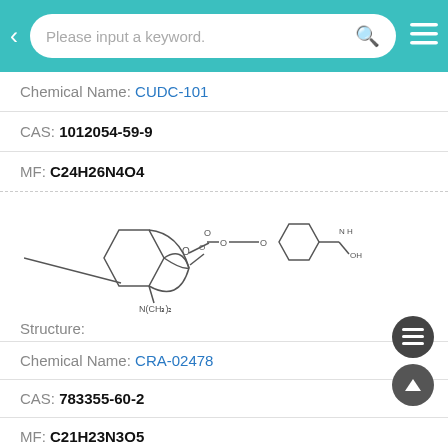Please input a keyword.
Chemical Name: CUDC-101
CAS: 1012054-59-9
MF: C24H26N4O4
[Figure (illustration): Chemical structure of CUDC-101 showing a benzofuran ring system with dimethylamine substituent connected via ester linkage to a phenyl ring bearing a hydroxamic acid group]
Structure:
Chemical Name: CRA-02478
CAS: 783355-60-2
MF: C21H23N3O5